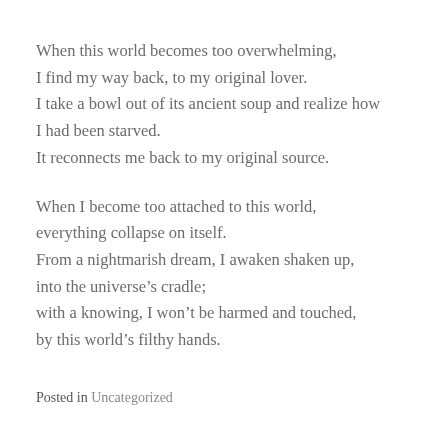When this world becomes too overwhelming,
I find my way back, to my original lover.
I take a bowl out of its ancient soup and realize how
I had been starved.
It reconnects me back to my original source.
When I become too attached to this world,
everything collapse on itself.
From a nightmarish dream, I awaken shaken up,
into the universe's cradle;
with a knowing, I won't be harmed and touched,
by this world's filthy hands.
Posted in Uncategorized